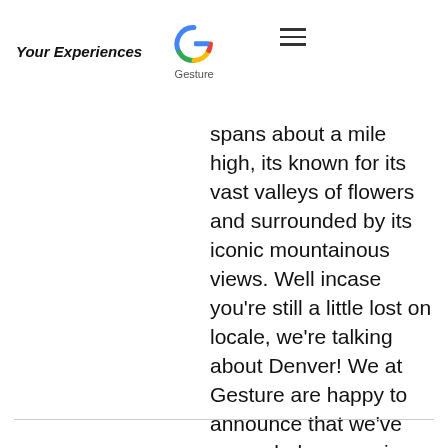Your Experiences | Gesture logo | hamburger menu
spans about a mile high, its known for its vast valleys of flowers and surrounded by its iconic mountainous views. Well incase you're still a little lost on locale, we're talking about Denver! We at Gesture are happy to announce that we've expanded our services in Denver to help spread a little more of that thoughtful culture! In light of this expansion we thought we'd share our favorite spots around this